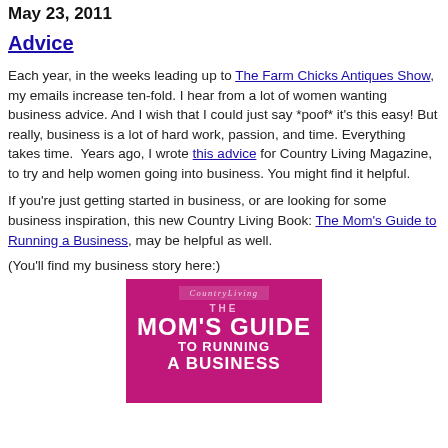May 23, 2011
Advice
Each year, in the weeks leading up to The Farm Chicks Antiques Show, my emails increase ten-fold. I hear from a lot of women wanting business advice. And I wish that I could just say *poof* it's this easy! But really, business is a lot of hard work, passion, and time. Everything takes time. Years ago, I wrote this advice for Country Living Magazine, to try and help women going into business. You might find it helpful.
If you're just getting started in business, or are looking for some business inspiration, this new Country Living Book: The Mom's Guide to Running a Business, may be helpful as well.
(You'll find my business story here:)
[Figure (photo): Book cover of 'The Mom's Guide to Running a Business' from Country Living, magenta/pink background with white text]